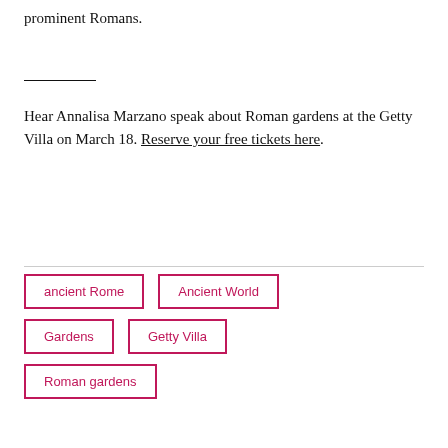prominent Romans.
Hear Annalisa Marzano speak about Roman gardens at the Getty Villa on March 18. Reserve your free tickets here.
ancient Rome
Ancient World
Gardens
Getty Villa
Roman gardens